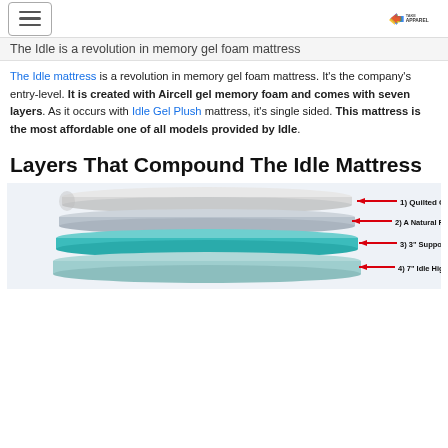[hamburger menu] [TAKE APPAREL logo]
The Idle is a revolution in memory gel foam mattress
The Idle mattress is a revolution in memory gel foam mattress. It's the company's entry-level. It is created with Aircell gel memory foam and comes with seven layers. As it occurs with Idle Gel Plush mattress, it's single sided. This mattress is the most affordable one of all models provided by Idle.
Layers That Compound The Idle Mattress
[Figure (illustration): Exploded diagram of the Idle mattress layers showing: 1) Quilted Cover, 2) A Natural Fire-Resistant Barrier, 3) 3" Supportive Transition Foam Layer, 4) 7" Idle High-Density Foam Base]